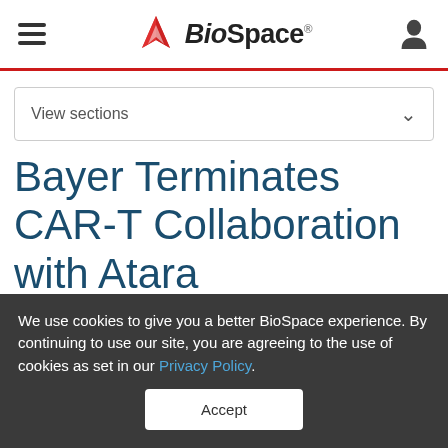BioSpace
View sections
Bayer Terminates CAR-T Collaboration with Atara Therapeutics
We use cookies to give you a better BioSpace experience. By continuing to use our site, you are agreeing to the use of cookies as set in our Privacy Policy.
Accept